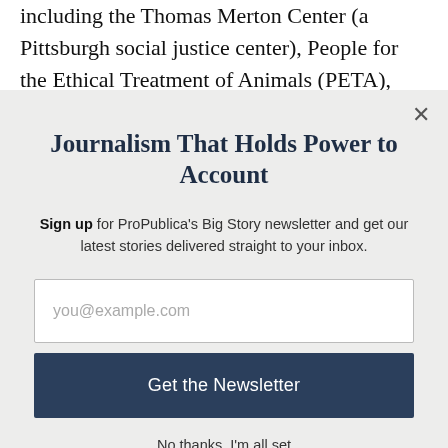including the Thomas Merton Center (a Pittsburgh social justice center), People for the Ethical Treatment of Animals (PETA), Greenpeace, The Catholic
Journalism That Holds Power to Account
Sign up for ProPublica's Big Story newsletter and get our latest stories delivered straight to your inbox.
you@example.com
Get the Newsletter
No thanks, I'm all set
This site is protected by reCAPTCHA and the Google Privacy Policy and Terms of Service apply.